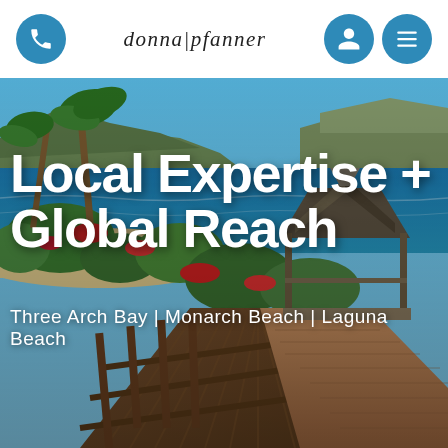donna|pfanner
[Figure (photo): Coastal beach scene with blue ocean, white sand, palm trees, flowering red plants, a wooden deck with railing leading to a gazebo/pavilion structure, with text overlay. Location: Laguna Beach, California area.]
Local Expertise + Global Reach
Three Arch Bay | Monarch Beach | Laguna Beach